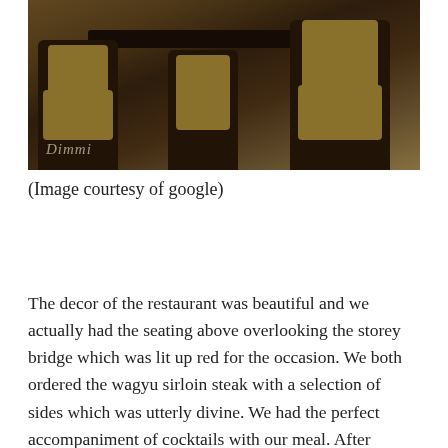[Figure (photo): Interior of a restaurant showing dark wooden chairs with yellow/gold padded seats and backs, a dark table, warm amber lighting. Dimmi watermark in lower-left corner.]
(Image courtesy of google)
The decor of the restaurant was beautiful and we actually had the seating above overlooking the storey bridge which was lit up red for the occasion. We both ordered the wagyu sirloin steak with a selection of sides which was utterly divine. We had the perfect accompaniment of cocktails with our meal. After dinner, we headed to the bar area which had a dj and we managed to bag one of the über comfy quilted sofas much to our delight. We spent the evening laughing until our